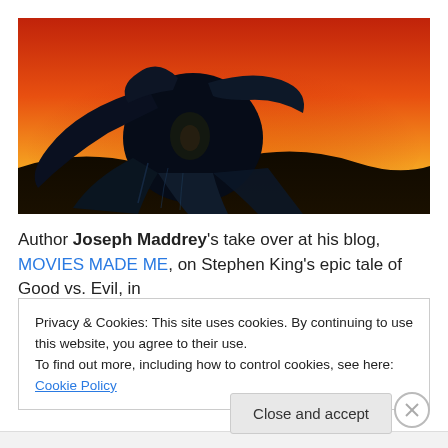[Figure (illustration): Dark fantasy illustration of a long-haired shadowy figure hunched forward against a vivid orange-red sunset sky, dark silhouetted landscape in background.]
Author Joseph Maddrey's take over at his blog, MOVIES MADE ME, on Stephen King's epic tale of Good vs. Evil, in
Privacy & Cookies: This site uses cookies. By continuing to use this website, you agree to their use.
To find out more, including how to control cookies, see here: Cookie Policy
Close and accept